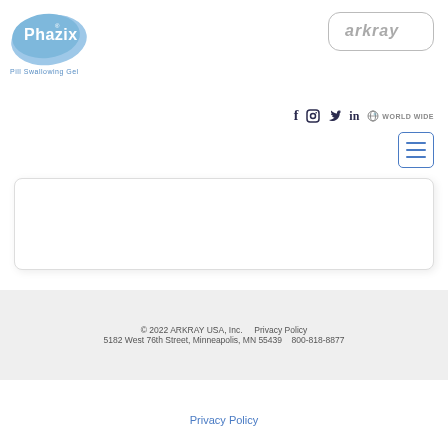[Figure (logo): Phazix Pill Swallowing Gel logo — blue organic blob shape with white text 'Phazix' and tagline 'Pill Swallowing Gel' below]
[Figure (logo): Arkray logo — gray rounded rectangle border containing italic text 'arkray']
[Figure (infographic): Social media icons: Facebook (f), Instagram, Twitter bird, LinkedIn (in), followed by globe icon and 'WORLD WIDE' text]
[Figure (screenshot): Hamburger menu icon — blue bordered rounded square with three horizontal blue lines]
[Figure (other): Empty rounded white content box with light shadow border]
© 2022 ARKRAY USA, Inc.    Privacy Policy
5182 West 76th Street, Minneapolis, MN 55439    800-818-8877
Privacy Policy